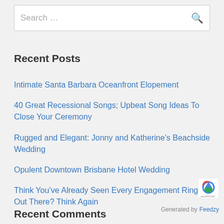[Figure (screenshot): Search input box with placeholder text 'Search ...' and a search icon on the right]
Recent Posts
Intimate Santa Barbara Oceanfront Elopement
40 Great Recessional Songs; Upbeat Song Ideas To Close Your Ceremony
Rugged and Elegant: Jonny and Katherine’s Beachside Wedding
Opulent Downtown Brisbane Hotel Wedding
Think You’ve Already Seen Every Engagement Ring Out There? Think Again
Recent Comments
Generated by Feedzy